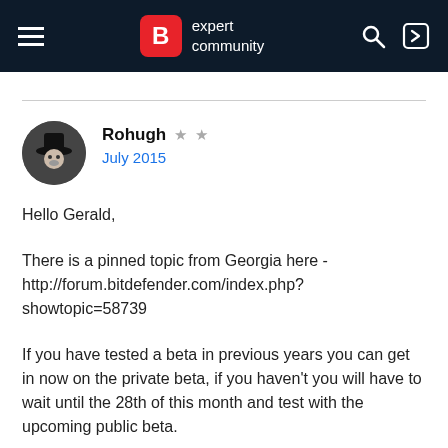Bitdefender expert community
Rohugh ★★
July 2015
Hello Gerald,
There is a pinned topic from Georgia here - http://forum.bitdefender.com/index.php?showtopic=58739
If you have tested a beta in previous years you can get in now on the private beta, if you haven't you will have to wait until the 28th of this month and test with the upcoming public beta.